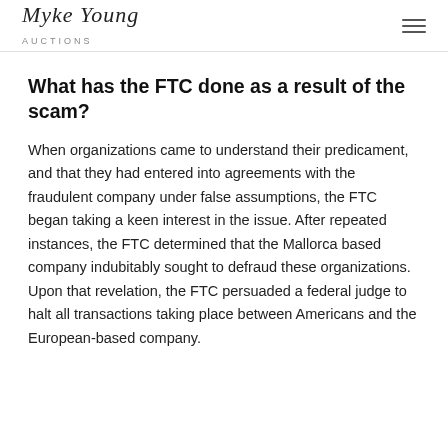Myke Young Auctions [logo/signature] [hamburger menu]
What has the FTC done as a result of the scam?
When organizations came to understand their predicament, and that they had entered into agreements with the fraudulent company under false assumptions, the FTC began taking a keen interest in the issue. After repeated instances, the FTC determined that the Mallorca based company indubitably sought to defraud these organizations. Upon that revelation, the FTC persuaded a federal judge to halt all transactions taking place between Americans and the European-based company.